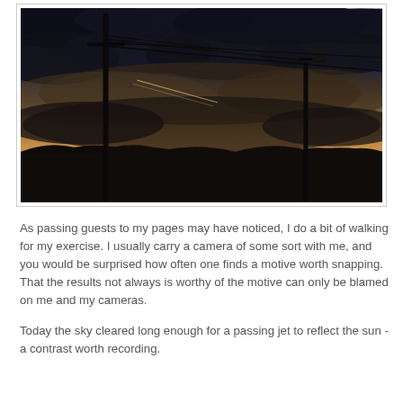[Figure (photo): A dark twilight/dusk photograph showing a street scene silhouette with utility poles, power lines crossing diagonally, a street lamp, and dark rolling hills in the background. The sky shows a warm amber/orange glow near the horizon beneath heavy dark clouds, with a faint jet contrail visible.]
As passing guests to my pages may have noticed, I do a bit of walking for my exercise. I usually carry a camera of some sort with me, and you would be surprised how often one finds a motive worth snapping. That the results not always is worthy of the motive can only be blamed on me and my cameras.
Today the sky cleared long enough for a passing jet to reflect the sun - a contrast worth recording.